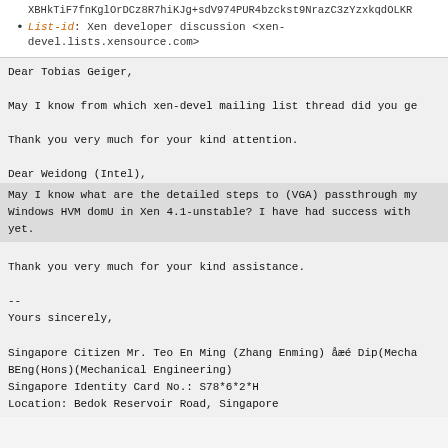XBHkTiF7fnKglOrDCz8R7hiKJg+sdV974PUR4bzckst9NrazC3zYzxkqdOLKR
List-id: Xen developer discussion <xen-devel.lists.xensource.com>
Dear Tobias Geiger,

May I know from which xen-devel mailing list thread did you ge

Thank you very much for your kind attention.

Dear Weidong (Intel),

May I know what are the detailed steps to (VGA) passthrough my
Windows HVM domU in Xen 4.1-unstable? I have had success with
yet.

Thank you very much for your kind assistance.

--
Yours sincerely,

Singapore Citizen Mr. Teo En Ming (Zhang Enming) åæé Dip(Mecha
BEng(Hons)(Mechanical Engineering)
Singapore Identity Card No.: S78*6*2*H
Location: Bedok Reservoir Road, Singapore